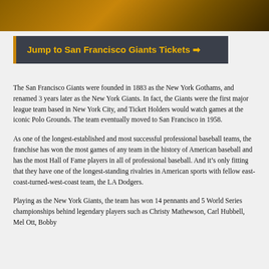[Figure (photo): Sepia/golden-toned historical baseball photo strip at top of page]
Jump to San Francisco Giants Tickets ➔
The San Francisco Giants were founded in 1883 as the New York Gothams, and renamed 3 years later as the New York Giants. In fact, the Giants were the first major league team based in New York City, and Ticket Holders would watch games at the iconic Polo Grounds. The team eventually moved to San Francisco in 1958.
As one of the longest-established and most successful professional baseball teams, the franchise has won the most games of any team in the history of American baseball and has the most Hall of Fame players in all of professional baseball. And it's only fitting that they have one of the longest-standing rivalries in American sports with fellow east-coast-turned-west-coast team, the LA Dodgers.
Playing as the New York Giants, the team has won 14 pennants and 5 World Series championships behind legendary players such as Christy Mathewson, Carl Hubbell, Mel Ott, Bobby...